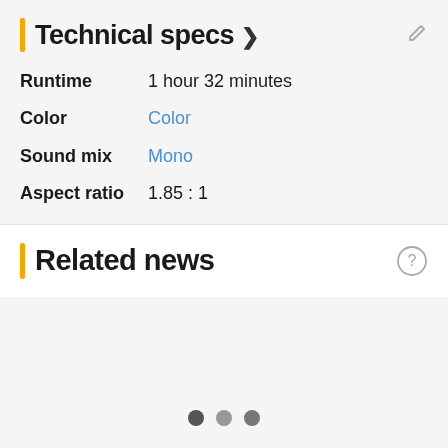Technical specs
Runtime   1 hour 32 minutes
Color   Color
Sound mix   Mono
Aspect ratio   1.85 : 1
Related news